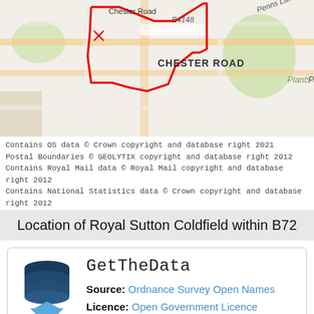[Figure (map): Street map showing Chester Road, B4148, Penns Lane, CHESTER ROAD, Plants Brook area with a red boundary outline marking the B72 postal area in Royal Sutton Coldfield.]
Contains OS data © Crown copyright and database right 2021
Postal Boundaries © GEOLYTIX copyright and database right 2012
Contains Royal Mail data © Royal Mail copyright and database right 2012
Contains National Statistics data © Crown copyright and database right 2012
Location of Royal Sutton Coldfield within B72
GetTheData
Source: Ordnance Survey Open Names
Licence: Open Government Licence
Source: GEOLYTIX Postal Geometries
Licence: GeoLytix OpenData Licence Terms and Conditions
What is the post town for Royal Sutton Coldfield?